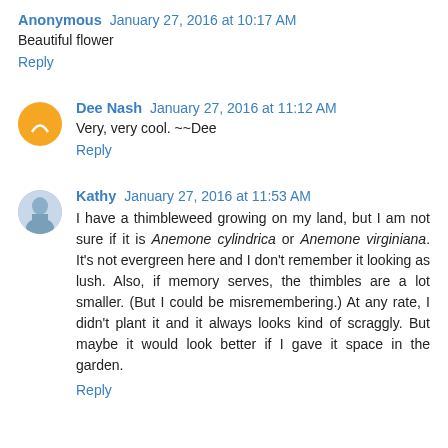Anonymous January 27, 2016 at 10:17 AM
Beautiful flower
Reply
Dee Nash January 27, 2016 at 11:12 AM
Very, very cool. ~~Dee
Reply
Kathy January 27, 2016 at 11:53 AM
I have a thimbleweed growing on my land, but I am not sure if it is Anemone cylindrica or Anemone virginiana. It's not evergreen here and I don't remember it looking as lush. Also, if memory serves, the thimbles are a lot smaller. (But I could be misremembering.) At any rate, I didn't plant it and it always looks kind of scraggly. But maybe it would look better if I gave it space in the garden.
Reply